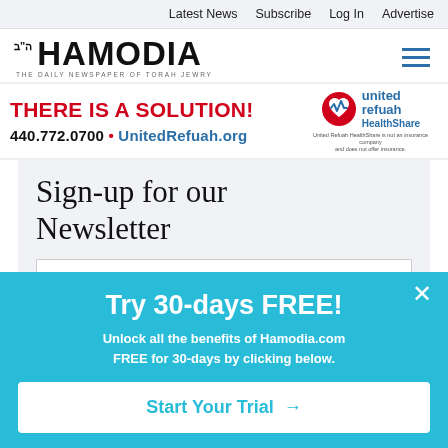Latest News   Subscribe   Log In   Advertise
[Figure (logo): Hamodia logo — THE DAILY NEWSPAPER OF TORAH JEWRY]
[Figure (infographic): United Refuah HealthShare advertisement banner: THERE IS A SOLUTION! 440.772.0700 • UnitedRefuah.org with United Refuah HealthShare logo and disclaimer text]
Sign-up for our Newsletter
[Figure (screenshot): Popup overlay with sky-blue background: Try 30-days FREE! Unlock all the benefits of Hamodia.com FREE for 30-days by clicking below. Button: Start Your Trial →]